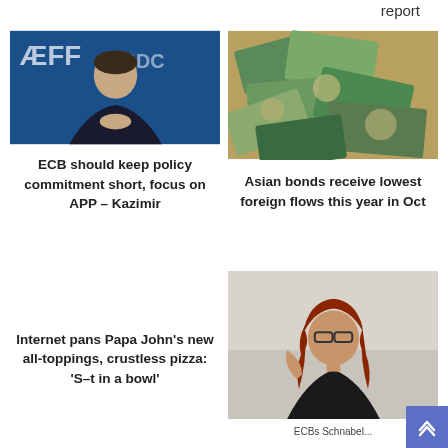report
[Figure (photo): Man in suit with clasped hands at AFF/EBRD event, blue background]
[Figure (photo): Pile of various international currency banknotes]
ECB should keep policy commitment short, focus on APP – Kazimir
Asian bonds receive lowest foreign flows this year in Oct
Internet pans Papa John's new all-toppings, crustless pizza: 'S–t in a bowl'
[Figure (photo): Woman with red hair and glasses gesturing, speaking at event]
ECBs Schnabel...